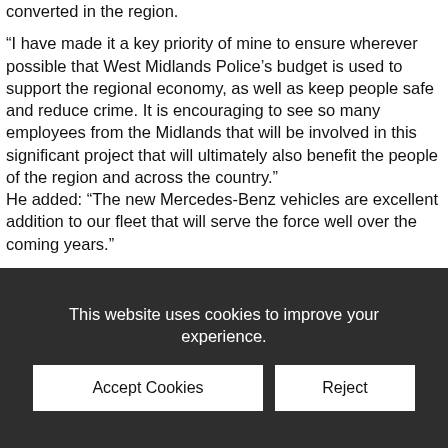converted in the region.
“I have made it a key priority of mine to ensure wherever possible that West Midlands Police’s budget is used to support the regional economy, as well as keep people safe and reduce crime. It is encouraging to see so many employees from the Midlands that will be involved in this significant project that will ultimately also benefit the people of the region and across the country.”
He added: “The new Mercedes-Benz vehicles are excellent addition to our fleet that will serve the force well over the coming years.”
The majority of MacNeillie employees, and those deployed on the vehicle conversions will be from the Midlands region and will cover a variety of roles ranging from electrician, coach
This website uses cookies to improve your experience.